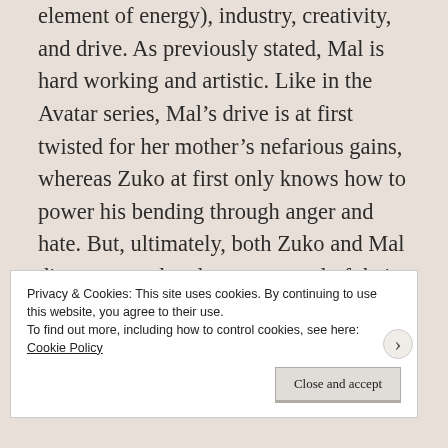element of energy), industry, creativity, and drive. As previously stated, Mal is hard working and artistic. Like in the Avatar series, Mal's drive is at first twisted for her mother's nefarious gains, whereas Zuko at first only knows how to power his bending through anger and hate. But, ultimately, both Zuko and Mal discover good and wrest control of their life away from their toxic parents and societal expectations.
Privacy & Cookies: This site uses cookies. By continuing to use this website, you agree to their use.
To find out more, including how to control cookies, see here:
Cookie Policy